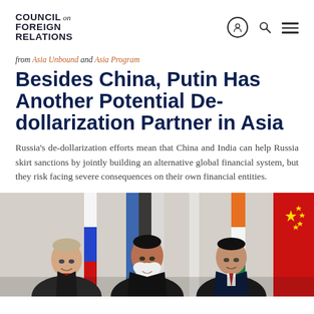COUNCIL on FOREIGN RELATIONS
from Asia Unbound and Asia Program
Besides China, Putin Has Another Potential De-dollarization Partner in Asia
Russia's de-dollarization efforts mean that China and India can help Russia skirt sanctions by jointly building an alternative global financial system, but they risk facing severe consequences on their own financial entities.
[Figure (photo): Vladimir Putin, Narendra Modi, and Xi Jinping standing together at an official meeting, with national flags (Russian, Indian, Chinese) visible in the background.]